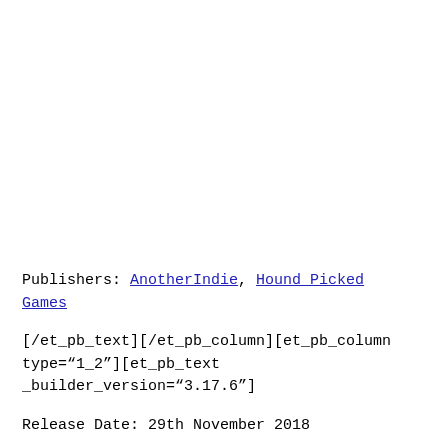Publishers: AnotherIndie, Hound Picked Games
[/et_pb_text][/et_pb_column][et_pb_column type="1_2"][et_pb_text _builder_version="3.17.6"]
Release Date: 29th November 2018